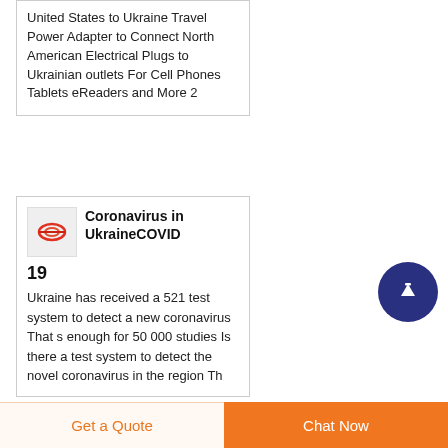United States to Ukraine Travel Power Adapter to Connect North American Electrical Plugs to Ukrainian outlets For Cell Phones Tablets eReaders and More 2
Coronavirus in UkraineCOVID 19
Ukraine has received a 521 test system to detect a new coronavirus That s enough for 50 000 studies Is there a test system to detect the novel coronavirus in the region Th...
[Figure (logo): Small thumbnail image with red/orange shapes on light background]
Get a Quote
Chat Now